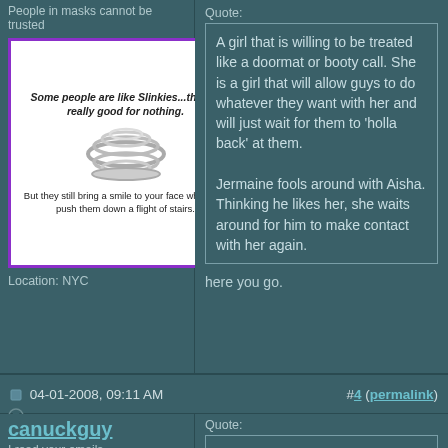People in masks cannot be trusted
[Figure (illustration): Image macro with slinky. Text: 'Some people are like Slinkies...they're really good for nothing. But they still bring a smile to your face when you push them down a flight of stairs.']
Location: NYC
Quote: A girl that is willing to be treated like a doormat or booty call. She is a girl that will allow guys to do whatever they want with her and will just wait for them to 'holla back' at them. Jermaine fools around with Aisha. Thinking he likes her, she waits around for him to make contact with her again.
here you go.
04-01-2008, 09:11 AM
#4 (permalink)
canuckguy
I read your emails.
[Figure (photo): Photo of person on a road with trees]
Quote: Originally Posted by Ratman What is the degradation propensity of an amorphous mass?